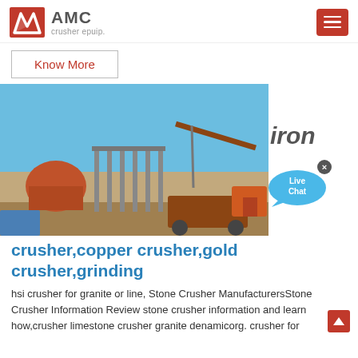AMC crusher epuip.
Know More
[Figure (photo): Outdoor industrial mining/crushing equipment site with orange machinery, crane, and conveyor structures on dry sandy ground under blue sky. Text 'iron' appears to the right, along with a Live Chat bubble.]
crusher,copper crusher,gold crusher,grinding
hsi crusher for granite or line, Stone Crusher ManufacturersStone Crusher Information Review stone crusher information and learn how,crusher limestone crusher granite denamicorg. crusher for